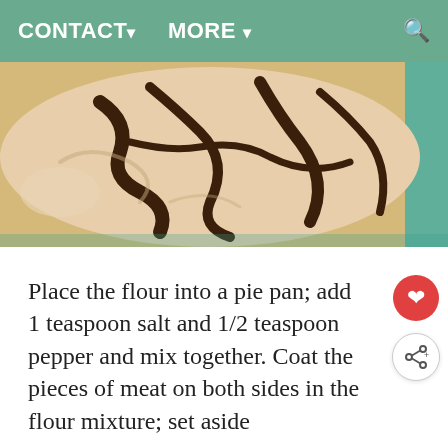CONTACT▼    MORE ▼
[Figure (photo): Close-up photo of a baking dish with cream/tan colored batter and chocolate drizzled in dark swirls on top, on a teal/turquoise dish.]
Place the flour into a pie pan; add 1 teaspoon salt and 1/2 teaspoon pepper and mix together. Coat the pieces of meat on both sides in the flour mixture; set aside
Add bacon drippings or vegetable cover 1/2 inch on the bottom of a large heavy-bottom skillet and heat. Once the oil